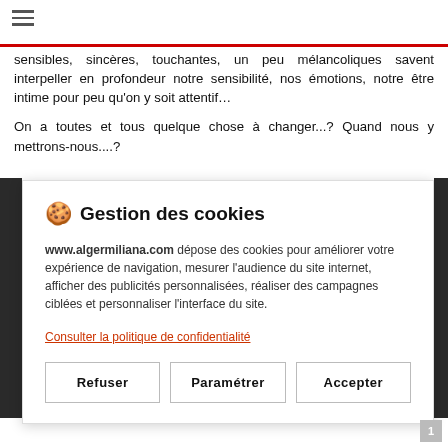sensibles, sincères, touchantes, un peu mélancoliques savent interpeller en profondeur notre sensibilité, nos émotions, notre être intime pour peu qu'on y soit attentif…
On a toutes et tous quelque chose à changer...? Quand nous y mettrons-nous....?
🍪 Gestion des cookies
www.algermiliana.com dépose des cookies pour améliorer votre expérience de navigation, mesurer l'audience du site internet, afficher des publicités personnalisées, réaliser des campagnes ciblées et personnaliser l'interface du site.
Consulter la politique de confidentialité
Refuser | Paramétrer | Accepter